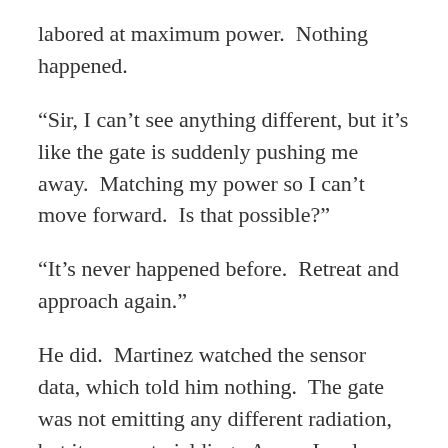labored at maximum power.  Nothing happened.
“Sir, I can’t see anything different, but it’s like the gate is suddenly pushing me away.  Matching my power so I can’t move forward.  Is that possible?”
“It’s never happened before.  Retreat and approach again.”
He did.  Martinez watched the sensor data, which told him nothing.  The gate was not emitting any different radiation, but it was not yielding.  A new Landry weapon?  But drones patrolling the spaceside of the gate had not reported any Landry ships approaching; nor had the scouts sent periodically to check on the drones.  Martinez was no physicist, but